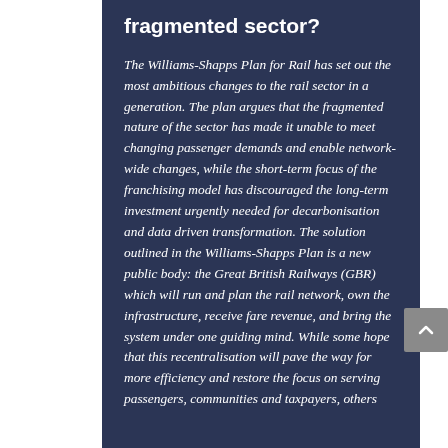fragmented sector?
The Williams-Shapps Plan for Rail has set out the most ambitious changes to the rail sector in a generation. The plan argues that the fragmented nature of the sector has made it unable to meet changing passenger demands and enable network-wide changes, while the short-term focus of the franchising model has discouraged the long-term investment urgently needed for decarbonisation and data driven transformation. The solution outlined in the Williams-Shapps Plan is a new public body: the Great British Railways (GBR) which will run and plan the rail network, own the infrastructure, receive fare revenue, and bring the system under one guiding mind. While some hope that this recentralisation will pave the way for more efficiency and restore the focus on serving passengers, communities and taxpayers, others